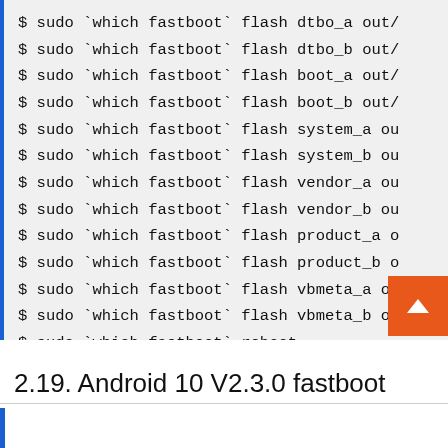$ sudo `which fastboot` flash dtbo_a out/
$ sudo `which fastboot` flash dtbo_b out/
$ sudo `which fastboot` flash boot_a out/
$ sudo `which fastboot` flash boot_b out/
$ sudo `which fastboot` flash system_a ou
$ sudo `which fastboot` flash system_b ou
$ sudo `which fastboot` flash vendor_a ou
$ sudo `which fastboot` flash vendor_b ou
$ sudo `which fastboot` flash product_a o
$ sudo `which fastboot` flash product_b o
$ sudo `which fastboot` flash vbmeta_a ou
$ sudo `which fastboot` flash vbmeta_b ou
$ sudo `which fastboot` reboot
2.19. Android 10 V2.3.0 fastboot